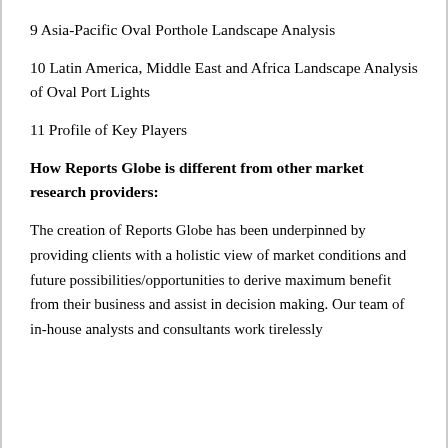9 Asia-Pacific Oval Porthole Landscape Analysis
10 Latin America, Middle East and Africa Landscape Analysis of Oval Port Lights
11 Profile of Key Players
How Reports Globe is different from other market research providers:
The creation of Reports Globe has been underpinned by providing clients with a holistic view of market conditions and future possibilities/opportunities to derive maximum benefit from their business and assist in decision making. Our team of in-house analysts and consultants work tirelessly